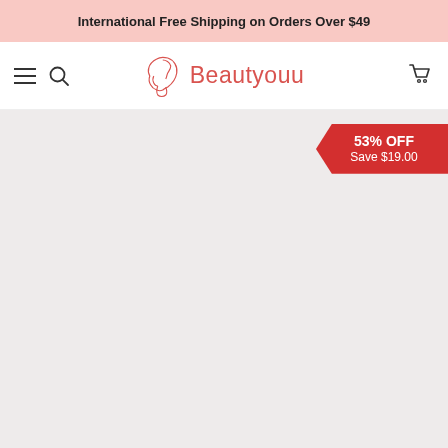International Free Shipping on Orders Over $49
[Figure (logo): Beautyouu brand logo with a woman's face silhouette and the text 'Beautyouu' in red-pink color]
[Figure (other): Light grey product image area with a red sale badge in the top right corner showing '53% OFF' and 'Save $19.00']